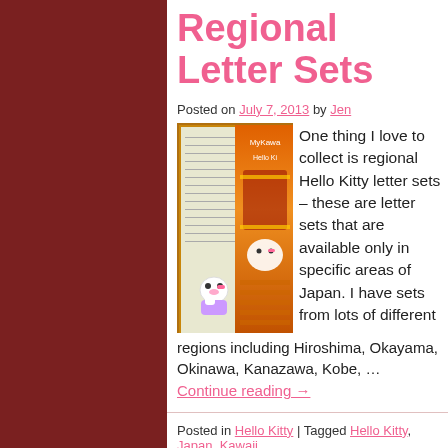Regional Letter Sets
Posted on July 7, 2013 by Jen
[Figure (photo): Hello Kitty regional letter set showing stationery paper with Hello Kitty design and colorful packaging with Chinese/Japanese architectural motifs]
One thing I love to collect is regional Hello Kitty letter sets – these are letter sets that are available only in specific areas of Japan. I have sets from lots of different regions including Hiroshima, Okayama, Okinawa, Kanazawa, Kobe, … Continue reading →
Posted in Hello Kitty | Tagged Hello Kitty, Japan, Kawaii, Letter Set, Sanrio, Yokohama | Leave a comment